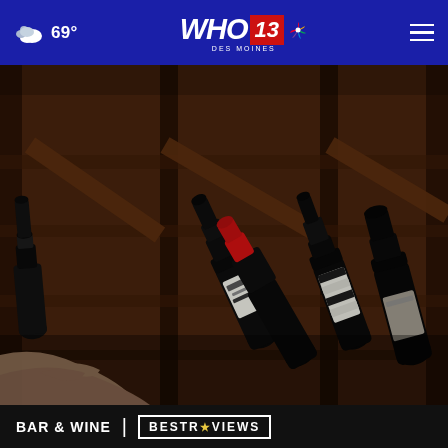69° | WHO 13 DES MOINES NBC
[Figure (photo): Photo of wine bottles stored horizontally in a dark wooden wine rack. A hand reaches toward the bottles. One bottle has a red capsule/foil top visible. Bottles are black with various labels.]
BAR & WINE | BESTREVIEWS